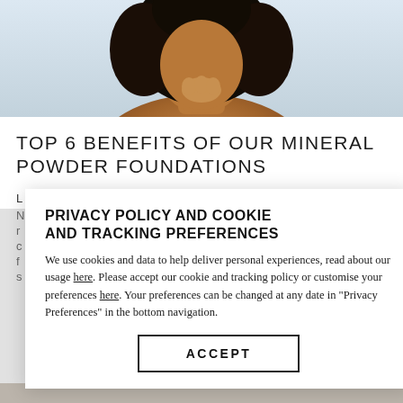[Figure (photo): A Black woman with natural afro hair, posed with hands near her chin, bare shoulders, light blue-grey background. Cropped to show face, neck, and shoulders.]
TOP 6 BENEFITS OF OUR MINERAL POWDER FOUNDATIONS
L...
N...
r...
PRIVACY POLICY AND COOKIE AND TRACKING PREFERENCES
We use cookies and data to help deliver personal experiences, read about our usage here. Please accept our cookie and tracking policy or customise your preferences here. Your preferences can be changed at any date in "Privacy Preferences" in the bottom navigation.
ACCEPT